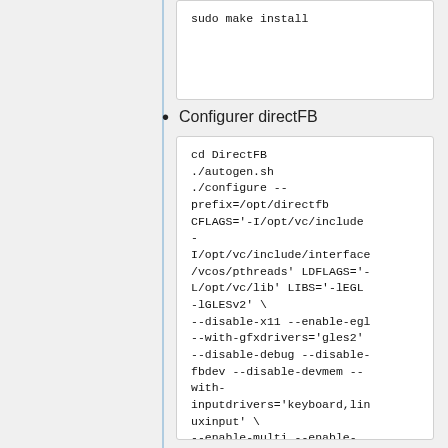sudo make install
Configurer directFB
cd DirectFB
./autogen.sh
./configure --prefix=/opt/directfb CFLAGS='-I/opt/vc/include -I/opt/vc/include/interface/vcos/pthreads' LDFLAGS='-L/opt/vc/lib' LIBS='-lEGL -lGLESv2' \
--disable-x11 --enable-egl --with-gfxdrivers='gles2' --disable-debug --disable-fbdev --disable-devmem --with-inputdrivers='keyboard,linuxinput' \
--enable-multi --enable-